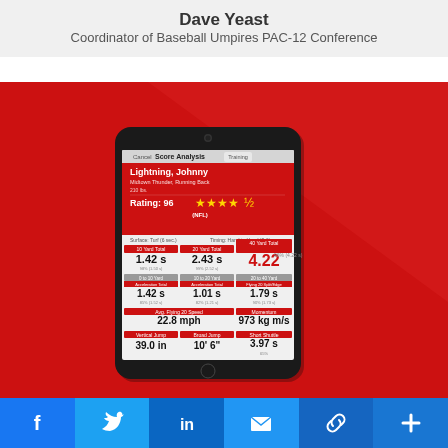Dave Yeast
Coordinator of Baseball Umpires PAC-12 Conference
[Figure (photo): A hand holding a smartphone displaying a Score Analysis app screen showing player Lightning, Johnny from Midtown Thunder, Running Back. Rating: 96 with 4 gold stars (NFL). Various performance metrics shown including 40 Yard Total: 4.22s (96%, 4.22 s), 10 Yard Total: 1.42s, 20 Yard Total: 2.43s, acceleration metrics, Avg. Flying 20 Speed: 22.8 mph, Momentum: 973 kg m/s, Vertical Jump: 39.0 in, Broad Jump: 10'6", Short Shuttle: 3.97s 65%. Red background with white triangle design.]
[Figure (infographic): Social media sharing bar with Facebook, Twitter, LinkedIn, Email, Link, and Plus buttons in various shades of blue]